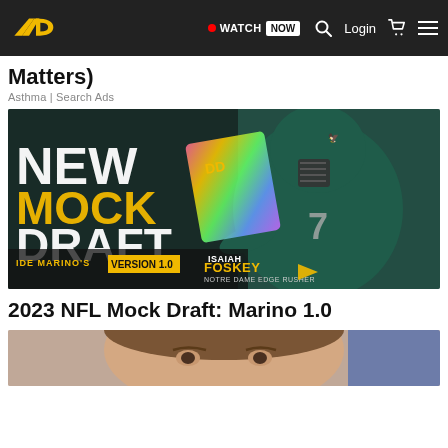Draft Diamonds — WATCH NOW  Login
Matters)
Asthma | Search Ads
[Figure (photo): NFL Mock Draft graphic featuring Isaiah Foskey, Notre Dame Edge Rusher, in a Philadelphia Eagles uniform. Text reads: NEW MOCK DRAFT, Ide Marino's Version 1.0, Isaiah Foskey, Notre Dame Edge Rusher.]
2023 NFL Mock Draft: Marino 1.0
[Figure (photo): Partial view of a woman's face, cropped at bottom of page.]